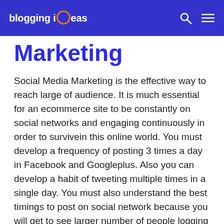blogging ideas
Marketing
Social Media Marketing is the effective way to reach large of audience. It is much essential for an ecommerce site to be constantly on social networks and engaging continuously in order to survivein this online world. You must develop a frequency of posting 3 times a day in Facebook and Googleplus.
Also you can develop a habit of tweeting multiple times in a single day. You must also understand the best timings to post on social network because you will get to see larger number of people logging into social